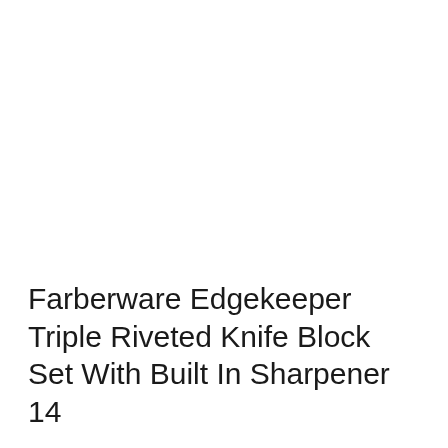Farberware Edgekeeper Triple Riveted Knife Block Set With Built In Sharpener 14